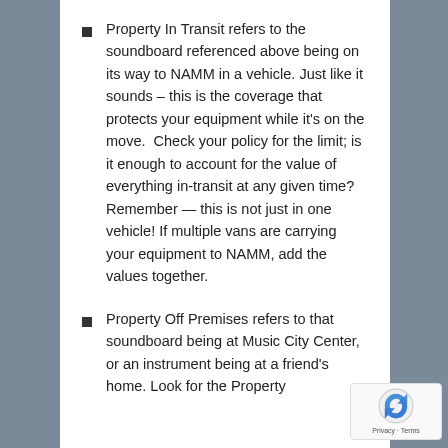Property In Transit refers to the soundboard referenced above being on its way to NAMM in a vehicle. Just like it sounds – this is the coverage that protects your equipment while it's on the move.  Check your policy for the limit; is it enough to account for the value of everything in-transit at any given time? Remember — this is not just in one vehicle! If multiple vans are carrying your equipment to NAMM, add the values together.
Property Off Premises refers to that soundboard being at Music City Center, or an instrument being at a friend's home. Look for the Property